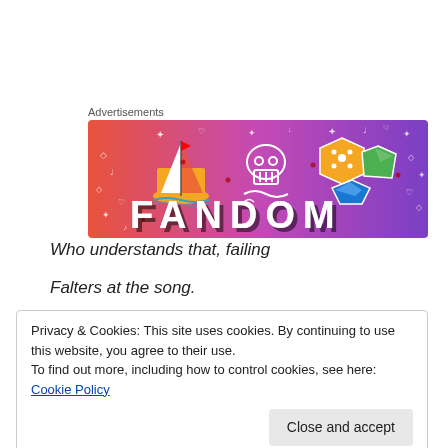Advertisements
[Figure (illustration): Fandom advertisement banner with gradient background from orange to purple, featuring a sailboat, skull, dice, and large FANDOM text]
Who understands that, failing
Falters at the song.
Privacy & Cookies: This site uses cookies. By continuing to use this website, you agree to their use.
To find out more, including how to control cookies, see here: Cookie Policy